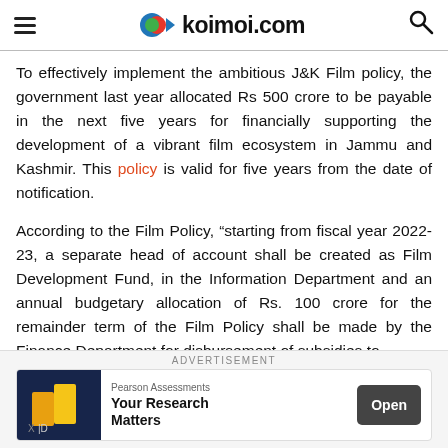koimoi.com
To effectively implement the ambitious J&K Film policy, the government last year allocated Rs 500 crore to be payable in the next five years for financially supporting the development of a vibrant film ecosystem in Jammu and Kashmir. This policy is valid for five years from the date of notification.
According to the Film Policy, “starting from fiscal year 2022-23, a separate head of account shall be created as Film Development Fund, in the Information Department and an annual budgetary allocation of Rs. 100 crore for the remainder term of the Film Policy shall be made by the Finance Department for disbursement of subsidies to
[Figure (screenshot): Advertisement banner: Pearson Assessments - Your Research Matters, with Open button]